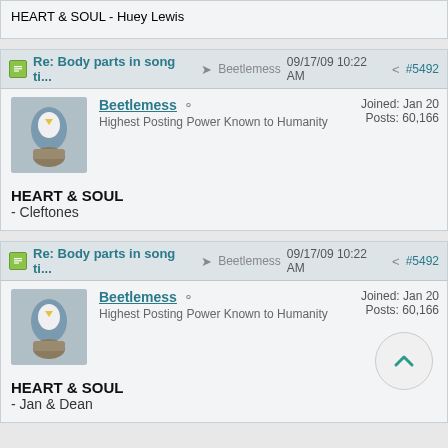HEART & SOUL
- Huey Lewis
Re: Body parts in song ti... Beetlemess 09/17/09 10:22 AM #5492
Beetlemess
Highest Posting Power Known to Humanity
Joined: Jan 20
Posts: 60,166
HEART & SOUL
- Cleftones
Re: Body parts in song ti... Beetlemess 09/17/09 10:22 AM #5492
Beetlemess
Highest Posting Power Known to Humanity
Joined: Jan 20
Posts: 60,166
HEART & SOUL
- Jan & Dean